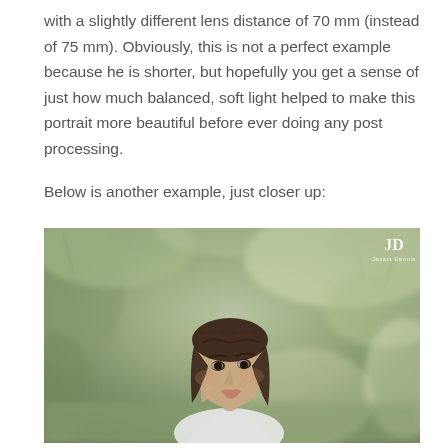with a slightly different lens distance of 70 mm (instead of 75 mm). Obviously, this is not a perfect example because he is shorter, but hopefully you get a sense of just how much balanced, soft light helped to make this portrait more beautiful before ever doing any post processing.

Below is another example, just closer up:
[Figure (photo): Close-up portrait photograph of a young woman with braided dark hair, looking slightly downward, with a soft blurred outdoor background of green and tan foliage. A watermark reading 'JD Jessia Dennis' appears in the upper right corner.]